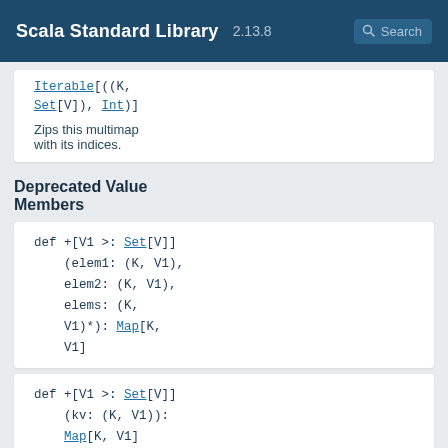Scala Standard Library 2.13.8 Search
Iterable[((K, Set[V]), Int)]
Zips this multimap with its indices.
Deprecated Value Members
def +[V1 >: Set[V]](elem1: (K, V1), elem2: (K, V1), elems: (K, V1)*): Map[K, V1]
def +[V1 >: Set[V]](kv: (K, V1)): Map[K, V1]
def +++[V1 >: Set[V]](that: IterableOnce[(K, V1)]): Map[K, V1]